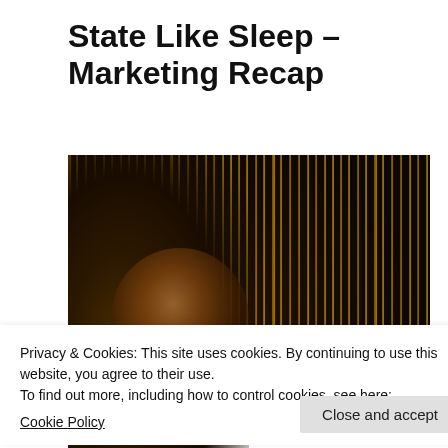State Like Sleep – Marketing Recap
[Figure (photo): Movie still from 'State Like Sleep' showing a woman's face partially obscured by golden/yellow beaded curtain strands, dark atmospheric background]
Privacy & Cookies: This site uses cookies. By continuing to use this website, you agree to their use.
To find out more, including how to control cookies, see here:
Cookie Policy
Close and accept
week's State